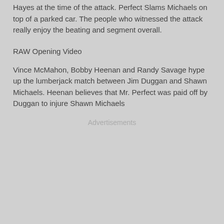Hayes at the time of the attack. Perfect Slams Michaels on top of a parked car. The people who witnessed the attack really enjoy the beating and segment overall.
RAW Opening Video
Vince McMahon, Bobby Heenan and Randy Savage hype up the lumberjack match between Jim Duggan and Shawn Michaels. Heenan believes that Mr. Perfect was paid off by Duggan to injure Shawn Michaels
Advertisements